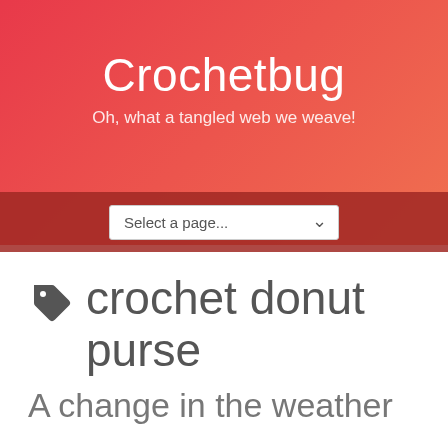Crochetbug
Oh, what a tangled web we weave!
Select a page...
crochet donut purse
A change in the weather